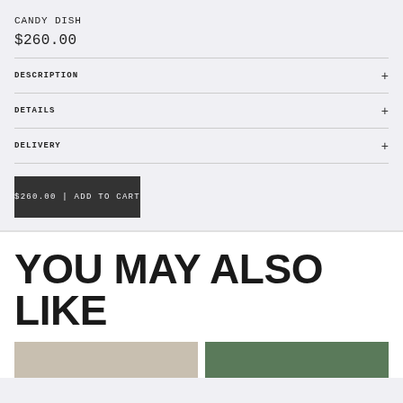CANDY DISH
$260.00
DESCRIPTION
DETAILS
DELIVERY
$260.00 | ADD TO CART
YOU MAY ALSO LIKE
[Figure (photo): Product thumbnail image (light/tan background)]
[Figure (photo): Product thumbnail image (green background)]